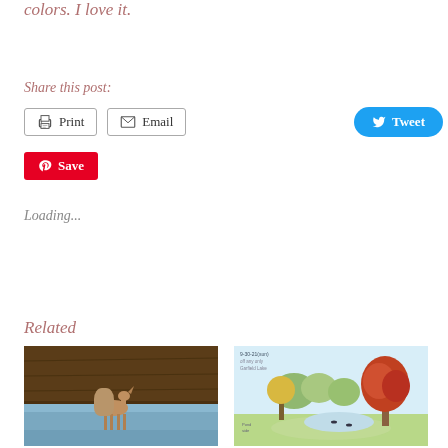colors. I love it.
Share this post:
Print
Email
Tweet
Save
Loading...
Related
[Figure (photo): Deer standing in shallow water with dark stone wall or cliff background]
[Figure (illustration): Watercolor sketch of autumn scene with red and orange tree, pond, and handwritten notes at top]